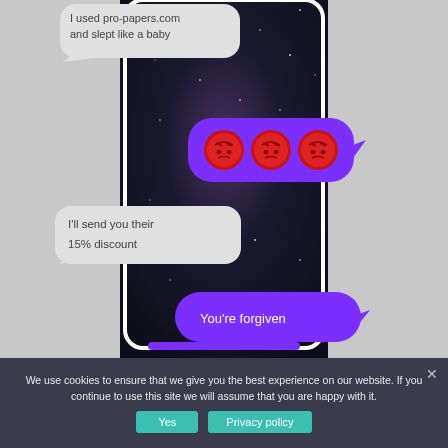[Figure (screenshot): A smartphone screen showing a text message conversation with a galaxy/space background. Messages shown: left bubble: 'I used pro-papers.com and slept like a baby'; right purple bubble: three angry face emojis; left bubble: 'I'll send you their 15% discount'; right purple bubble: 'You're forgiven'. At bottom a purple bar is partially visible.]
We use cookies to ensure that we give you the best experience on our website. If you continue to use this site we will assume that you are happy with it.
Yes
Privacy policy